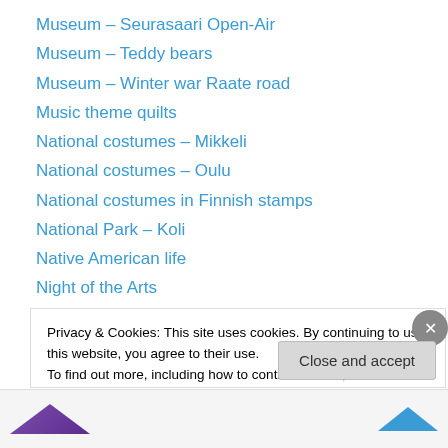Museum – Seurasaari Open-Air
Museum – Teddy bears
Museum – Winter war Raate road
Music theme quilts
National costumes – Mikkeli
National costumes – Oulu
National costumes in Finnish stamps
National Park – Koli
Native American life
Night of the Arts
Nordic walking
Nuorgam, the northernmost village of Finland and the European Union
Old matchbox covers
Privacy & Cookies: This site uses cookies. By continuing to use this website, you agree to their use.
To find out more, including how to control cookies, see here: Cookie Policy
Close and accept